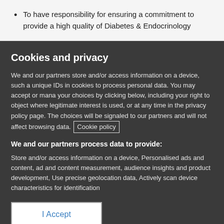To have responsibility for ensuring a commitment to provide a high quality of Diabetes & Endocrinology
Cookies and privacy
We and our partners store and/or access information on a device, such as unique IDs in cookies to process personal data. You may accept or manage your choices by clicking below, including your right to object where legitimate interest is used, or at any time in the privacy policy page. These choices will be signaled to our partners and will not affect browsing data. Cookie policy
We and our partners process data to provide:
Store and/or access information on a device, Personalised ads and content, ad and content measurement, audience insights and product development, Use precise geolocation data, Actively scan device characteristics for identification
List of Partners (vendors)
I Accept